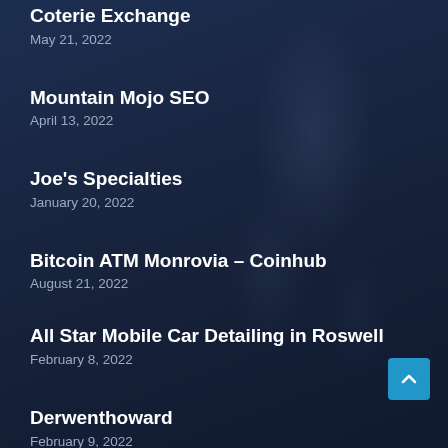Coterie Exchange
May 21, 2022
Mountain Mojo SEO
April 13, 2022
Joe's Specialties
January 20, 2022
Bitcoin ATM Monrovia – Coinhub
August 21, 2022
All Star Mobile Car Detailing in Roswell
February 8, 2022
Derwenthoward
February 9, 2022